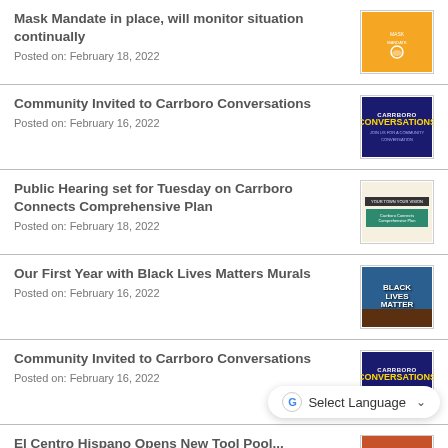Mask Mandate in place, will monitor situation continually
Posted on: February 18, 2022
Community Invited to Carrboro Conversations
Posted on: February 16, 2022
Public Hearing set for Tuesday on Carrboro Connects Comprehensive Plan
Posted on: February 18, 2022
Our First Year with Black Lives Matters Murals
Posted on: February 16, 2022
Community Invited to Carrboro Conversations
Posted on: February 16, 2022
El Cento Hispano Opens New Tool Pool...